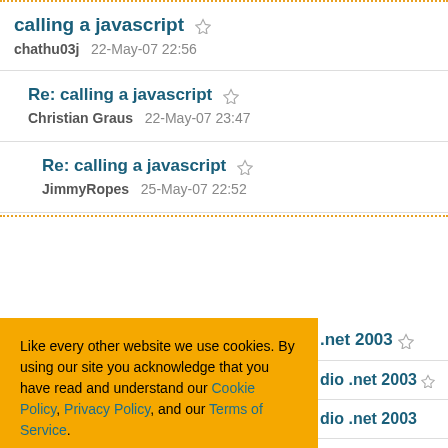calling a javascript
chathu03j   22-May-07 22:56
Re: calling a javascript
Christian Graus   22-May-07 23:47
Re: calling a javascript
JimmyRopes   25-May-07 22:52
Like every other website we use cookies. By using our site you acknowledge that you have read and understand our Cookie Policy, Privacy Policy, and our Terms of Service. Learn more
Ask me later | Decline | Allow cookies